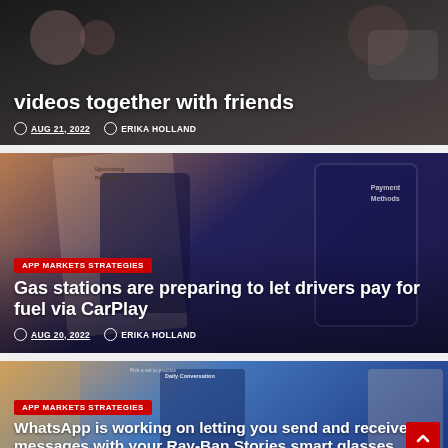[Figure (screenshot): Partial article card showing title about watching videos together with friends, dated AUG 21, 2022, by ERIKA HOLLAND]
videos together with friends
AUG 21, 2022   ERIKA HOLLAND
[Figure (screenshot): Article card with smartphone app screenshots showing payment methods, category APP MARKETS STRATEGIES]
APP MARKETS STRATEGIES
Gas stations are preparing to let drivers pay for fuel via CarPlay
AUG 20, 2022   ERIKA HOLLAND
[Figure (screenshot): Article card with WhatsApp/language learning app screenshots, category APP MARKETS STRATEGIES]
APP MARKETS STRATEGIES
WhatsApp is working on letting you send and receive messages with your Ray-Ban Stories smart glasses